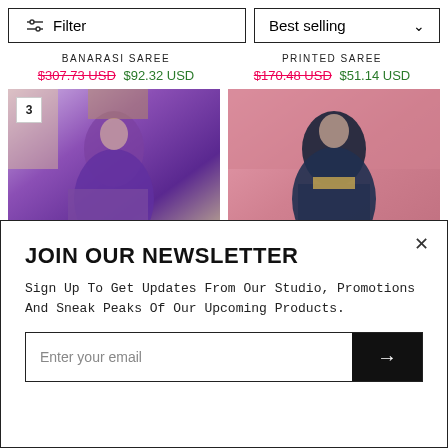Filter | Best selling
BANARASI SAREE
PRINTED SAREE
$307.73 USD  $92.32 USD
$170.48 USD  $51.14 USD
[Figure (photo): Woman in purple Banarasi saree with badge number 3]
[Figure (photo): Woman in dark blue/black satin silk Banarasi saree]
JOIN OUR NEWSLETTER
Sign Up To Get Updates From Our Studio, Promotions And Sneak Peaks Of Our Upcoming Products.
Enter your email
VICTORIA PURPLE SATIN SILK BANARASI SAREE WITH…
PHANTOM BLACK SOFT SATIN SILK BANARASI SAREE